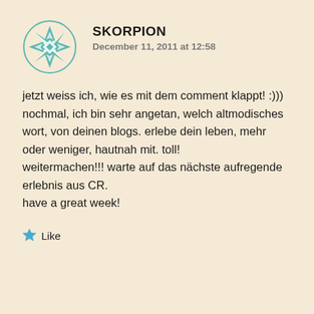[Figure (logo): Teal/green geometric star/flower mandala avatar icon for user SKORPION]
SKORPION
December 11, 2011 at 12:58
jetzt weiss ich, wie es mit dem comment klappt! :)))
nochmal, ich bin sehr angetan, welch altmodisches wort, von deinen blogs. erlebe dein leben, mehr oder weniger, hautnah mit. toll!
weitermachen!!! warte auf das nächste aufregende erlebnis aus CR.
have a great week!
Like